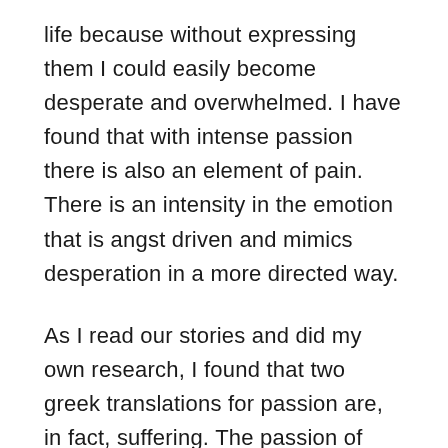life because without expressing them I could easily become desperate and overwhelmed. I have found that with intense passion there is also an element of pain. There is an intensity in the emotion that is angst driven and mimics desperation in a more directed way.
As I read our stories and did my own research, I found that two greek translations for passion are, in fact, suffering. The passion of Christ translates to the suffering of Christ. Other verses such as Romans 7:5 and Galatians 5: 24 describe passions of the flesh that are to be placed aside... once again the word passion indicates an